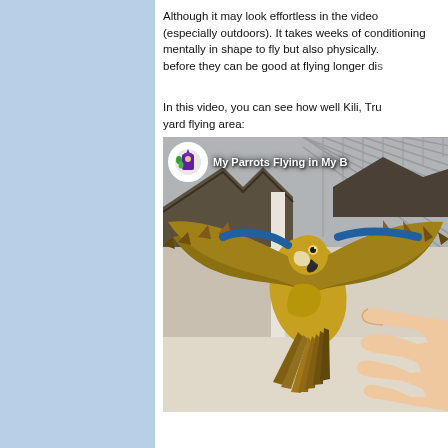Although it may look effortless in the video (especially outdoors). It takes weeks of conditioning to get them not only mentally in shape to fly but also physically. before they can be good at flying longer di...
In this video, you can see how well Kili, Tru... yard flying area:
[Figure (screenshot): Video thumbnail showing a blue-and-gold macaw parrot with wings spread wide, landing on an outstretched human hand, in an outdoor aviary with netting. A YouTube channel icon and title 'My Parrots Flying in My B...' overlay the top-left.]